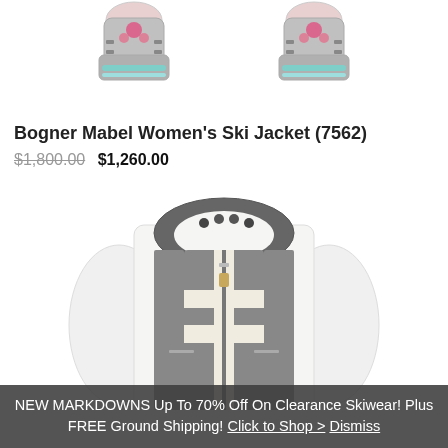[Figure (photo): Two ski boots with pink floral pattern and teal accents shown at top of page, partially cropped]
Bogner Mabel Women's Ski Jacket (7562)
$1,800.00  $1,260.00
[Figure (photo): White and grey Bogner Mabel Women's Ski Jacket with cross/stripe pattern on front, hooded, shown from front torso view]
NEW MARKDOWNS Up To 70% Off On Clearance Skiwear! Plus FREE Ground Shipping! Click to Shop > Dismiss